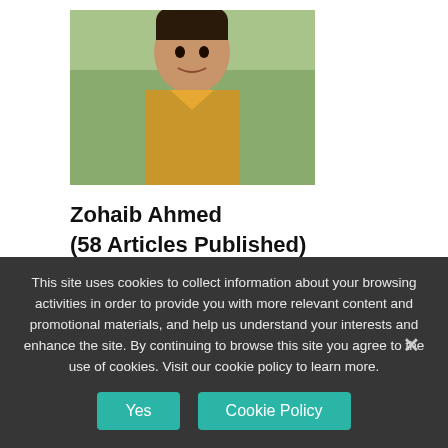[Figure (photo): Headshot photo of a young man wearing a golden/yellow top, outdoors background]
Zohaib Ahmed
(58 Articles Published)
A huge smartphone buff who very ironically years for the simpler Stone Age times at the slightest modern inconvenience.
This site uses cookies to collect information about your browsing activities in order to provide you with more relevant content and promotional materials, and help us understand your interests and enhance the site. By continuing to browse this site you agree to the use of cookies. Visit our cookie policy to learn more.